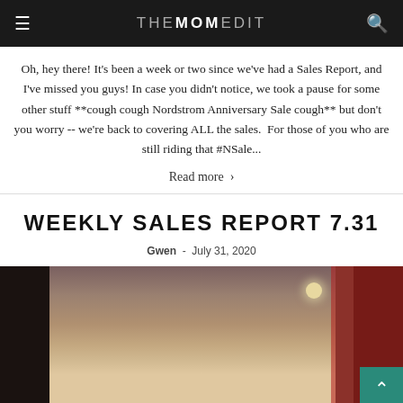THE MOM EDIT
Oh, hey there! It's been a week or two since we've had a Sales Report, and I've missed you guys! In case you didn't notice, we took a pause for some other stuff **cough cough Nordstrom Anniversary Sale cough** but don't you worry -- we're back to covering ALL the sales. For those of you who are still riding that #NSale...
Read more ›
WEEKLY SALES REPORT 7.31
Gwen - July 31, 2020
[Figure (photo): Woman with long hair photographed from behind/side near a doorway with brick wall and round light fixture, red door on right side]